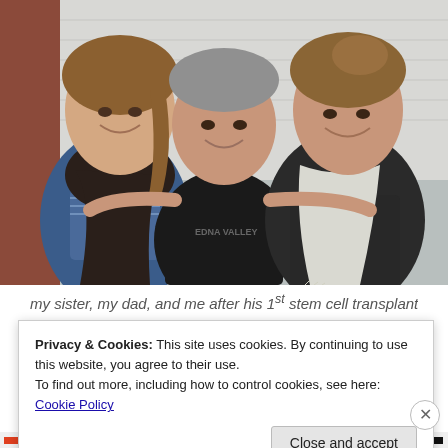[Figure (photo): Three people posing together outdoors in front of a house. Left: young woman with braided hair and dark scarf wearing blue striped top. Center: older man with short gray hair wearing black 'Edna Valley' t-shirt. Right: woman with hair up wearing white scarf and dark top. Photo taken after a 1st stem cell transplant.]
my sister, my dad, and me after his 1st stem cell transplant
Privacy & Cookies: This site uses cookies. By continuing to use this website, you agree to their use.
To find out more, including how to control cookies, see here: Cookie Policy
Close and accept